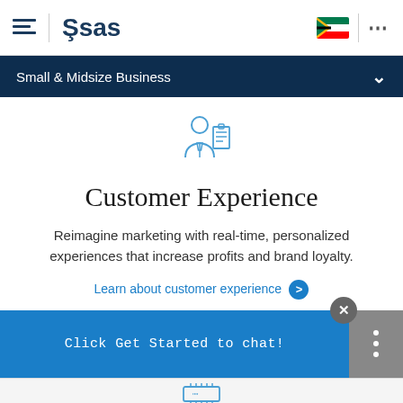SAS - Small & Midsize Business
[Figure (illustration): SAS logo with hamburger menu icon on left, South Africa flag and ellipsis menu on right]
Small & Midsize Business
[Figure (illustration): Blue outline icon of a business person with a tie and what appears to be a checklist or document]
Customer Experience
Reimagine marketing with real-time, personalized experiences that increase profits and brand loyalty.
Learn about customer experience ›
Click Get Started to chat!
[Figure (illustration): Blue outline icon of a circuit board or technology device at the bottom of the page]